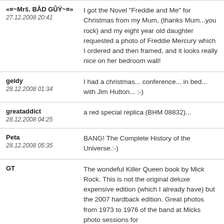«¤~Mrš. BÅD GÛŸ~¤» | 27.12.2008 20:41 | I got the Novel "Freddie and Me" for Christmas from my Mum, (thanks Mum...you rock) and my eight year old daughter requested a photo of Freddie Mercury which I ordered and then framed, and it looks really nice on her bedroom wall!
geldy | 28.12.2008 01:34 | I had a christmas... conference... in bed... with Jim Hutton... :-)
greataddict | 28.12.2008 04:25 | a red special replica (BHM 08832)...
Peta | 28.12.2008 05:35 | BANG! The Complete History of the Universe.:-)
GT | The wondeful Killer Queen book by Mick Rock. This is not the original deluxe expensive edition (which I already have) but the 2007 hardback edition. Great photos from 1973 to 1976 of the band at Micks photo sessions for